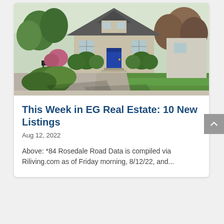[Figure (photo): Exterior photo of a residential house at 84 Rosedale Road with green lawn, shrubs, trees, and a blue front door]
This Week in EG Real Estate: 10 New Listings
Aug 12, 2022
Above: *84 Rosedale Road Data is compiled via Riliving.com as of Friday morning, 8/12/22, and...